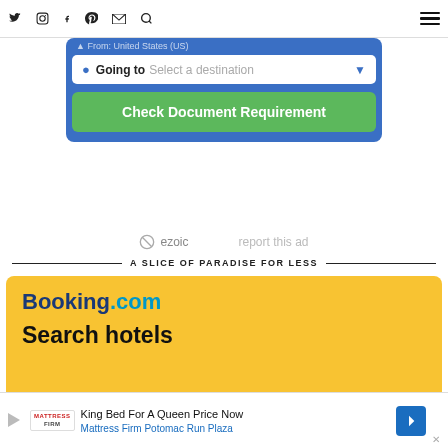[Figure (screenshot): Website navigation bar with social media icons (Twitter, Instagram, Facebook, Pinterest, email, search) and a hamburger menu on the right]
[Figure (screenshot): Blue travel widget with 'Going to' destination selector and green 'Check Document Requirement' button]
[Figure (screenshot): Ezoic logo with 'report this ad' text]
A SLICE OF PARADISE FOR LESS
[Figure (screenshot): Booking.com advertisement banner with yellow background showing 'Booking.com' logo and 'Search hotels' text]
[Figure (screenshot): Mattress Firm advertisement strip: 'King Bed For A Queen Price Now' and 'Mattress Firm Potomac Run Plaza']